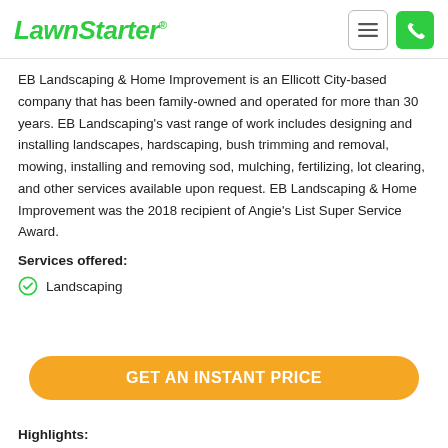LawnStarter
EB Landscaping & Home Improvement is an Ellicott City-based company that has been family-owned and operated for more than 30 years. EB Landscaping's vast range of work includes designing and installing landscapes, hardscaping, bush trimming and removal, mowing, installing and removing sod, mulching, fertilizing, lot clearing, and other services available upon request. EB Landscaping & Home Improvement was the 2018 recipient of Angie's List Super Service Award.
Services offered:
Landscaping
GET AN INSTANT PRICE
Highlights: